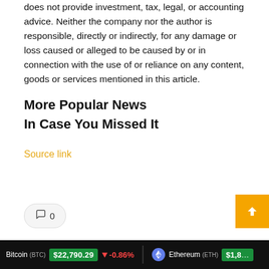does not provide investment, tax, legal, or accounting advice. Neither the company nor the author is responsible, directly or indirectly, for any damage or loss caused or alleged to be caused by or in connection with the use of or reliance on any content, goods or services mentioned in this article.
More Popular News
In Case You Missed It
Source link
Bitcoin (BTC) $22,790.29 ↓ -0.86%  Ethereum (ETH) $1,8...